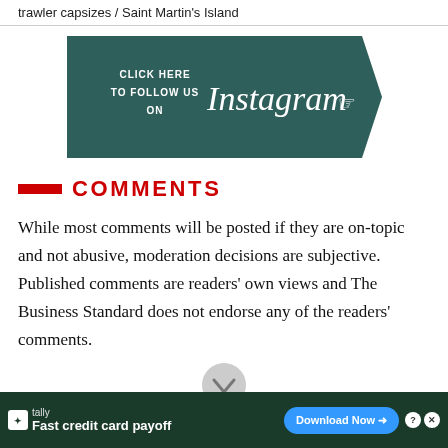trawler capsizes / Saint Martin's Island
[Figure (illustration): Dark teal Instagram follow banner with text 'CLICK HERE TO FOLLOW US ON' on the left and Instagram logo with hand pointer icon on the right, arrow-shaped right edge]
COMMENTS
While most comments will be posted if they are on-topic and not abusive, moderation decisions are subjective. Published comments are readers' own views and The Business Standard does not endorse any of the readers' comments.
[Figure (illustration): Gray circular scroll down chevron button]
[Figure (illustration): Advertisement banner: Tally app - Fast credit card payoff with Download Now button]